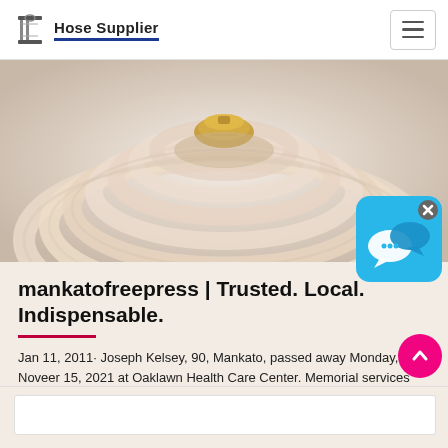Hose Supplier
[Figure (photo): A coiled white/cream garden hose with brass fitting, photographed from above against a light background]
[Figure (other): Blue chat widget with speech bubble icon and X close button in top right]
mankatofreepress | Trusted. Local. Indispensable.
Jan 11, 2011· Joseph Kelsey, 90, Mankato, passed away Monday, Noveer 15, 2021 at Oaklawn Health Care Center. Memorial services are pending for spring 2022 at Woodla...